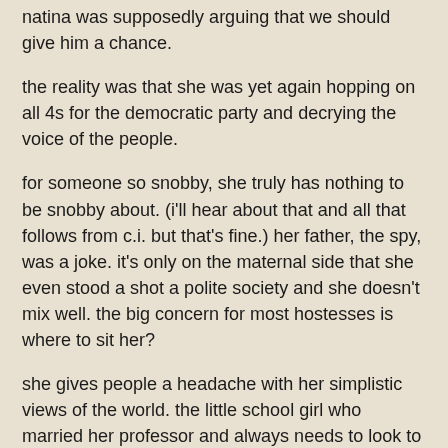natina was supposedly arguing that we should give him a chance.
the reality was that she was yet again hopping on all 4s for the democratic party and decrying the voice of the people.
for someone so snobby, she truly has nothing to be snobby about. (i'll hear about that and all that follows from c.i. but that's fine.) her father, the spy, was a joke. it's only on the maternal side that she even stood a shot a polite society and she doesn't mix well. the big concern for most hostesses is where to sit her?
she gives people a headache with her simplistic views of the world. the little school girl who married her professor and always needs to look to him for confirmation anytime she's mangling a point.
the big guessing game in the circles that feel obligated to invite her still (due to her late grandfather) is how stupid is she?
people can't figure out if her 'colorful' stories of her